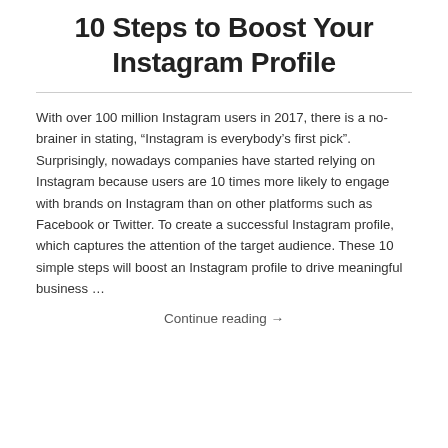10 Steps to Boost Your Instagram Profile
With over 100 million Instagram users in 2017, there is a no-brainer in stating, “Instagram is everybody’s first pick”. Surprisingly, nowadays companies have started relying on Instagram because users are 10 times more likely to engage with brands on Instagram than on other platforms such as Facebook or Twitter. To create a successful Instagram profile, which captures the attention of the target audience. These 10 simple steps will boost an Instagram profile to drive meaningful business …
Continue reading →